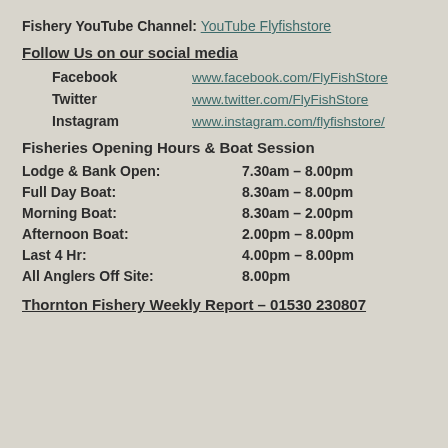Fishery YouTube Channel: YouTube Flyfishstore
Follow Us on our social media
Facebook    www.facebook.com/FlyFishStore
Twitter    www.twitter.com/FlyFishStore
Instagram    www.instagram.com/flyfishstore/
Fisheries Opening Hours & Boat Session
Lodge & Bank Open:    7.30am – 8.00pm
Full Day Boat:    8.30am – 8.00pm
Morning Boat:    8.30am – 2.00pm
Afternoon Boat:    2.00pm – 8.00pm
Last 4 Hr:    4.00pm – 8.00pm
All Anglers Off Site:    8.00pm
Thornton Fishery Weekly Report – 01530 230807